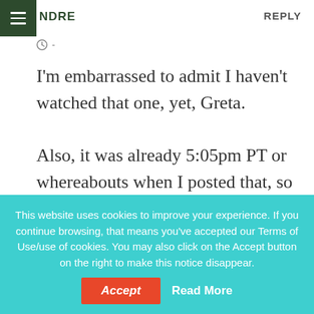NDRE   REPLY
I'm embarrassed to admit I haven't watched that one, yet, Greta.
Also, it was already 5:05pm PT or whereabouts when I posted that, so it was time to wrap things as the Hedy Lamarr evening began at 5…
This website uses cookies to improve your experience. If you continue browsing, that means you've accepted our Terms of Use/use of cookies. You may also click on the Accept button on the right to make this notice disappear.